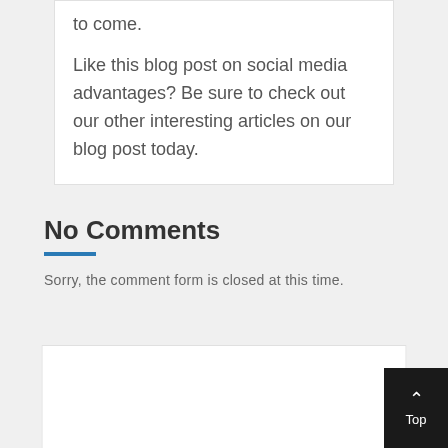to come.
Like this blog post on social media advantages? Be sure to check out our other interesting articles on our blog post today.
No Comments
Sorry, the comment form is closed at this time.